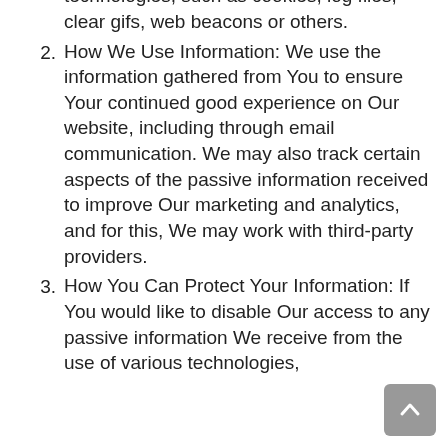access Our website, or we may receive information through various web technologies, such as cookies, log files, clear gifs, web beacons or others.
2. How We Use Information: We use the information gathered from You to ensure Your continued good experience on Our website, including through email communication. We may also track certain aspects of the passive information received to improve Our marketing and analytics, and for this, We may work with third-party providers.
3. How You Can Protect Your Information: If You would like to disable Our access to any passive information We receive from the use of various technologies,